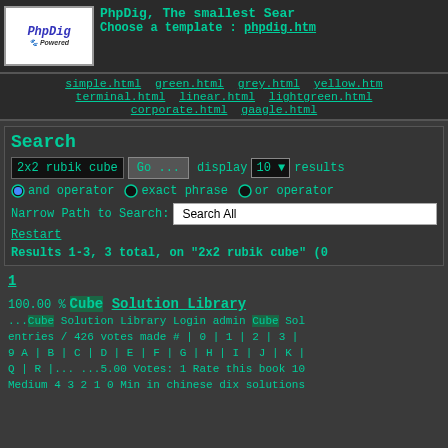[Figure (logo): PhpDig Powered logo with dog image]
PhpDig, The smallest Sear
Choose a template : phpdig.htm
simple.html green.html grey.html yellow.htm terminal.html linear.html lightgreen.html corporate.html gaagle.html
Search
2x2 rubik cube  Go ...  display 10 results
and operator  exact phrase  or operator
Narrow Path to Search: Search All
Restart
Results 1-3, 3 total, on "2x2 rubik cube" (0
1
100.00 %  Cube Solution Library
...Cube Solution Library Login admin Cube Sol entries / 426 votes made # | 0 | 1 | 2 | 3 | 9 A | B | C | D | E | F | G | H | I | J | K | Q | R |... ...5.00 Votes: 1 Rate this book 10 Medium 4 3 2 1 0 Min in chinese dix solutions